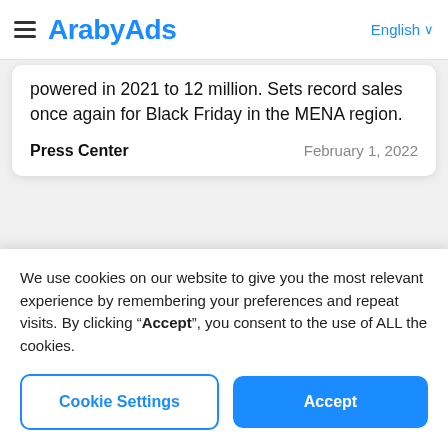ArabyAds  English
powered in 2021 to 12 million. Sets record sales once again for Black Friday in the MENA region.
Press Center   February 1, 2022
ArabyAds strengthens executive team with
We use cookies on our website to give you the most relevant experience by remembering your preferences and repeat visits. By clicking “Accept”, you consent to the use of ALL the cookies.
Cookie Settings   Accept